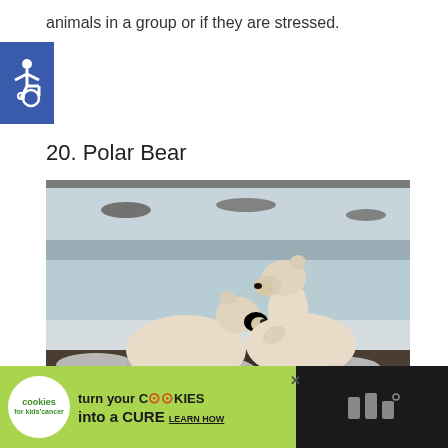animals in a group or if they are stressed.
[Figure (illustration): Accessibility wheelchair icon on blue background]
20. Polar Bear
[Figure (photo): Two polar bears facing each other in snowy Arctic tundra landscape, appearing to interact or play, with frozen water in background]
[Figure (infographic): Advertisement: Cookies for Kids Cancer - turn your COOKIES into a CURE LEARN HOW]